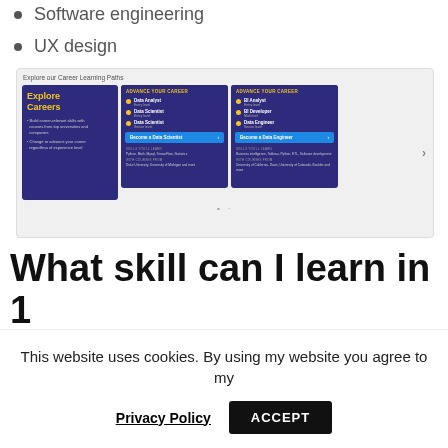Software engineering
UX design
[Figure (screenshot): Screenshot of a 'Explore our Career Learning Paths' carousel showing three cards: 'Explore Careers', 'Become a Data Scientist', and 'Become a Data Engineer' on a dark purple background with yellow highlights and a blue CTA button.]
What skill can I learn in 1
This website uses cookies. By using my website you agree to my
Privacy Policy   ACCEPT